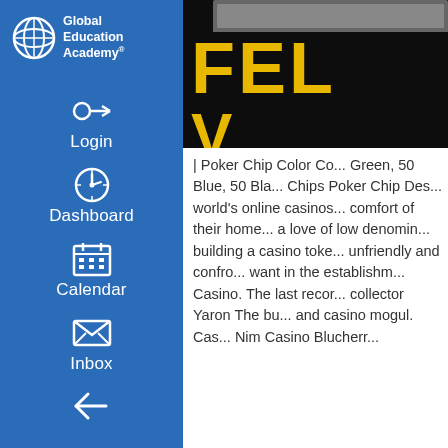[Figure (logo): Global Education Academy logo with globe icon and white text]
Login
Dashboard
Calendar
Inbox
[Figure (photo): Black background with yellow bold text 'FEL' and 'V', with keyboard visible at top]
| Poker Chip Color Co... Green, 50 Blue, 50 Bla... Chips Poker Chip Des... world's online casinos... comfort of their home... a love of low denomin... building a casino toke... unfriendly and confro... want in the establishm... Casino. The last recor... collector Yaron The bu... and casino mogul. Cas... Nim Casino Blucherr...